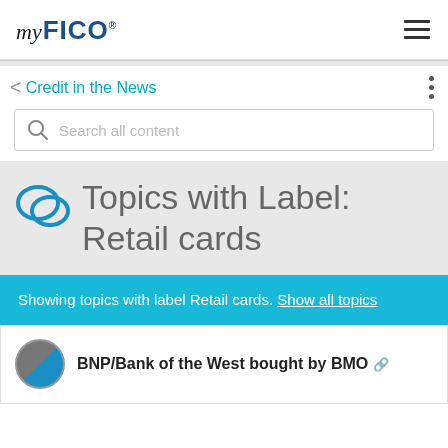myFICO
Credit in the News
Search all content
Topics with Label: Retail cards
Showing topics with label Retail cards. Show all topics
BNP/Bank of the West bought by BMO